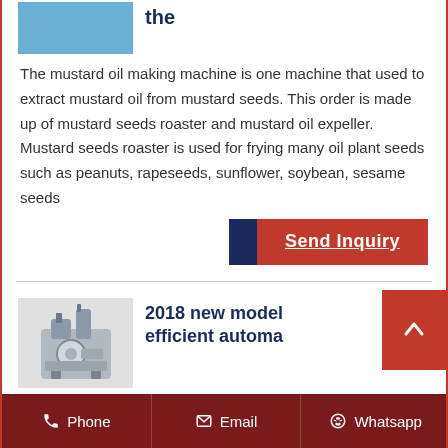[Figure (photo): Photo of mustard oil making machine (blue equipment)]
the
The mustard oil making machine is one machine that used to extract mustard oil from mustard seeds. This order is made up of mustard seeds roaster and mustard oil expeller. Mustard seeds roaster is used for frying many oil plant seeds such as peanuts, rapeseeds, sunflower, soybean, sesame seeds
[Figure (other): Send Inquiry button with dark blue square accent and red background]
[Figure (photo): Photo of 2018 new model efficient automatic oil machine]
2018 new model efficient automa...
Phone   Email   Whatsapp